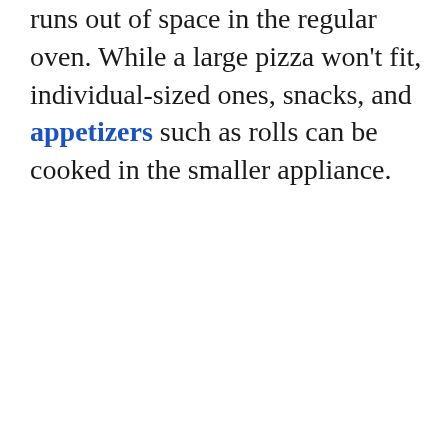runs out of space in the regular oven. While a large pizza won't fit, individual-sized ones, snacks, and appetizers such as rolls can be cooked in the smaller appliance.